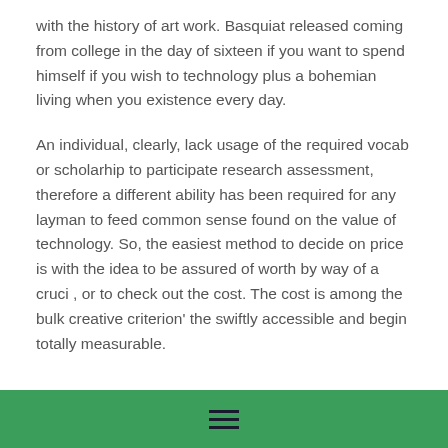with the history of art work. Basquiat released coming from college in the day of sixteen if you want to spend himself if you wish to technology plus a bohemian living when you existence every day.
An individual, clearly, lack usage of the required vocab or scholarhip to participate research assessment, therefore a different ability has been required for any layman to feed common sense found on the value of technology. So, the easiest method to decide on price is with the idea to be assured of worth by way of a cruci , or to check out the cost. The cost is among the bulk creative criterion' the swiftly accessible and begin totally measurable.
[Figure (illustration): A gray circular avatar/profile placeholder icon, partially visible at the bottom of the page above a green navigation footer bar.]